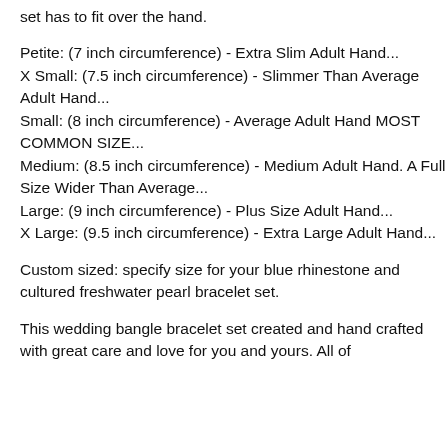set has to fit over the hand.
Petite: (7 inch circumference) - Extra Slim Adult Hand...
X Small: (7.5 inch circumference) - Slimmer Than Average Adult Hand...
Small: (8 inch circumference) - Average Adult Hand MOST COMMON SIZE...
Medium: (8.5 inch circumference) - Medium Adult Hand. A Full Size Wider Than Average...
Large: (9 inch circumference) - Plus Size Adult Hand...
X Large: (9.5 inch circumference) - Extra Large Adult Hand...
Custom sized: specify size for your blue rhinestone and cultured freshwater pearl bracelet set.
This wedding bangle bracelet set created and hand crafted with great care and love for you and yours. All of